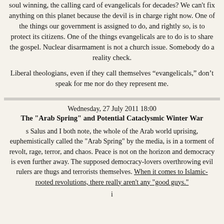soul winning, the calling card of evangelicals for decades? We can't fix anything on this planet because the devil is in charge right now. One of the things our government is assigned to do, and rightly so, is to protect its citizens. One of the things evangelicals are to do is to share the gospel. Nuclear disarmament is not a church issue. Somebody do a reality check.
Liberal theologians, even if they call themselves “evangelicals,” don’t speak for me nor do they represent me.
Wednesday, 27 July 2011 18:00
The "Arab Spring" and Potential Cataclysmic Winter War
s Salus and I both note, the whole of the Arab world uprising, euphemistically called the "Arab Spring" by the media, is in a torment of revolt, rage, terror, and chaos. Peace is not on the horizon and democracy is even further away. The supposed democracy-lovers overthrowing evil rulers are thugs and terrorists themselves. When it comes to Islamic-rooted revolutions, there really aren't any "good guys."
(cut off at bottom)